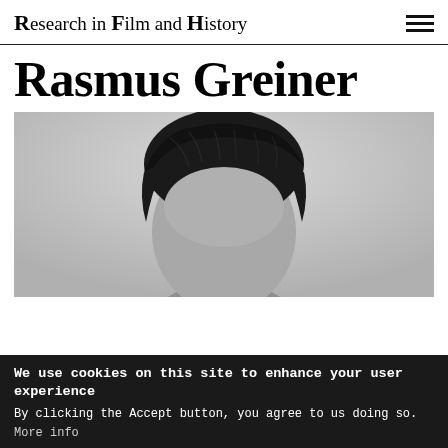Research in Film and History
Rasmus Greiner
[Figure (photo): Black and white portrait photo of Rasmus Greiner, showing the top portion of his face and dark combed hair against a light grey background.]
We use cookies on this site to enhance your user experience
By clicking the Accept button, you agree to us doing so.
More info